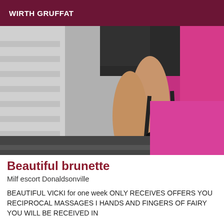WIRTH GRUFFAT
[Figure (photo): Photo of a person's legs wearing black high heels, sitting on a chair, wearing a dark dress with fishnet stockings on upper body, with pink bedding and grey carpet in background]
Beautiful brunette
Milf escort Donaldsonville
BEAUTIFUL VICKI for one week ONLY RECEIVES OFFERS YOU RECIPROCAL MASSAGES I HANDS AND FINGERS OF FAIRY YOU WILL BE RECEIVED IN